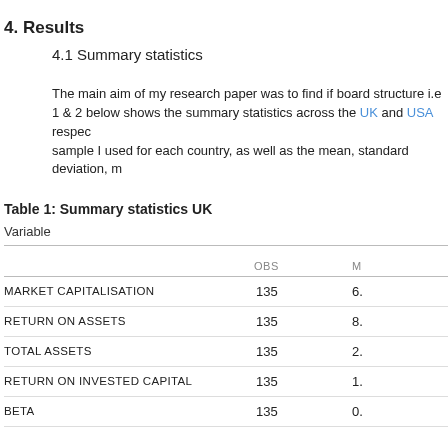4. Results
4.1 Summary statistics
The main aim of my research paper was to find if board structure i.e 1 & 2 below shows the summary statistics across the UK and USA respectively. sample I used for each country, as well as the mean, standard deviation, m
Table 1: Summary statistics UK
| Variable | OBS | M |
| --- | --- | --- |
| MARKET CAPITALISATION | 135 | 6.. |
| RETURN ON ASSETS | 135 | 8.. |
| TOTAL ASSETS | 135 | 2.. |
| RETURN ON INVESTED CAPITAL | 135 | 1.. |
| BETA | 135 | 0.. |